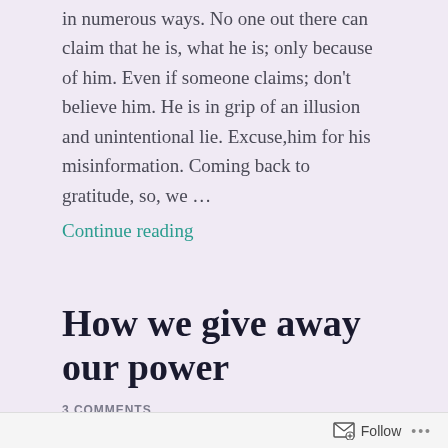in numerous ways. No one out there can claim that he is, what he is; only because of him. Even if someone claims; don't believe him. He is in grip of an illusion and unintentional lie. Excuse,him for his misinformation. Coming back to gratitude, so, we …
Continue reading
How we give away our power
3 COMMENTS
Humans love to be on the winning side, even when that winning means losing away all that you have. We
Follow ...